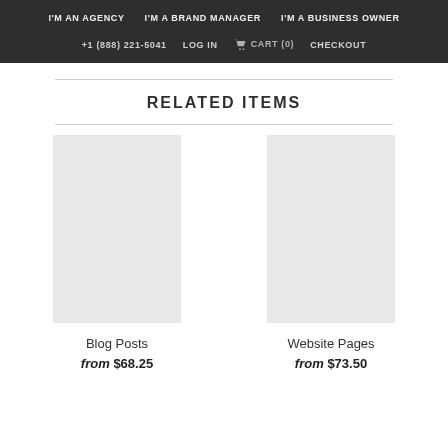I'M AN AGENCY  I'M A BRAND MANAGER  I'M A BUSINESS OWNER  +1 (888) 221-5041  LOG IN  CART (0)  CHECKOUT
RELATED ITEMS
Blog Posts
from $68.25
Website Pages
from $73.50